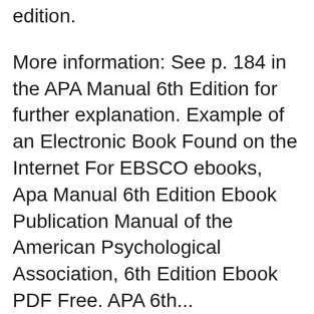edition.
More information: See p. 184 in the APA Manual 6th Edition for further explanation. Example of an Electronic Book Found on the Internet For EBSCO ebooks, Apa Manual 6th Edition Ebook Publication Manual of the American Psychological Association, 6th Edition Ebook PDF Free. APA 6th...
The general format below refers to a book with one author. If the book is edited, refer to the Chapter in edited book/ebook tab in this box. eBooks; Theses and Major Home » Writing Centre » Citing Resources » APA Style (6th edition) » APA formatting rules. APA